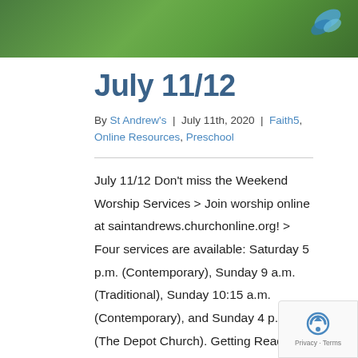[Figure (photo): Green foliage/grass header image with a blue logo in the upper right corner]
July 11/12
By St Andrew's | July 11th, 2020 | Faith5, Online Resources, Preschool
July 11/12 Don't miss the Weekend Worship Services > Join worship online at saintandrews.churchonline.org! > Four services are available: Saturday 5 p.m. (Contemporary), Sunday 9 a.m. (Traditional), Sunday 10:15 a.m. (Contemporary), and Sunday 4 p.m. (The Depot Church). Getting Ready: You will need: internet access for song and activity links; Spark Story Bible or Connect